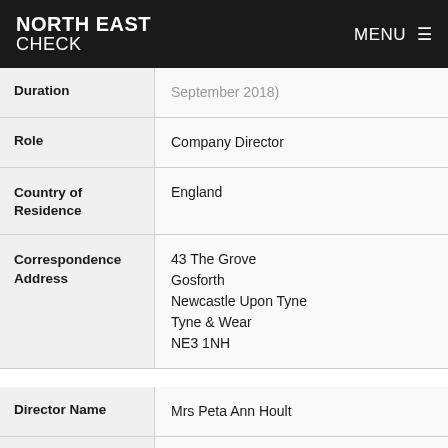NORTH EAST CHECK — MENU
| Field | Value |
| --- | --- |
| Duration | September 2018) |
| Role | Company Director |
| Country of Residence | England |
| Correspondence Address | 43 The Grove
Gosforth
Newcastle Upon Tyne
Tyne & Wear
NE3 1NH |
| Field | Value |
| --- | --- |
| Director Name | Mrs Peta Ann Hoult |
| Date of Birth | March 1938  (Born 84 years ago) |